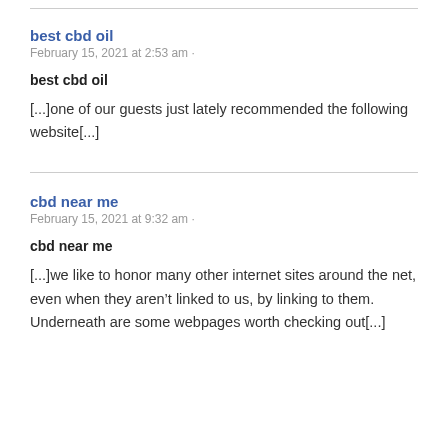best cbd oil
February 15, 2021 at 2:53 am ·
best cbd oil
[...]one of our guests just lately recommended the following website[...]
cbd near me
February 15, 2021 at 9:32 am ·
cbd near me
[...]we like to honor many other internet sites around the net, even when they aren’t linked to us, by linking to them. Underneath are some webpages worth checking out[...]